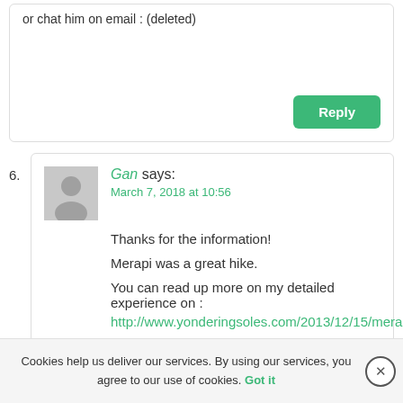or chat him on email : (deleted)
Reply
6.
Gan says:
March 7, 2018 at 10:56
Thanks for the information!
Merapi was a great hike.
You can read up more on my detailed experience on : http://www.yonderingsoles.com/2013/12/15/merapi/
Reply
Cookies help us deliver our services. By using our services, you agree to our use of cookies. Got it